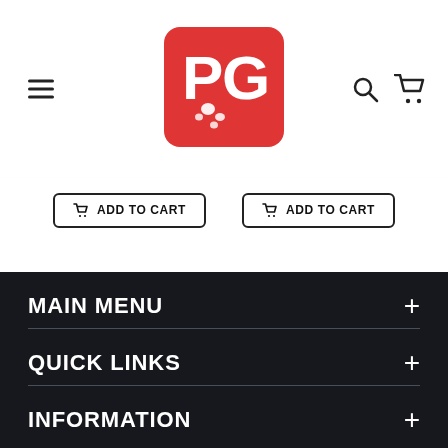[Figure (logo): PG pet store logo — red rounded square with white letters P and G and white paw print]
[Figure (screenshot): Two ADD TO CART buttons side by side with shopping cart icons, dark border outline style]
MAIN MENU
QUICK LINKS
INFORMATION